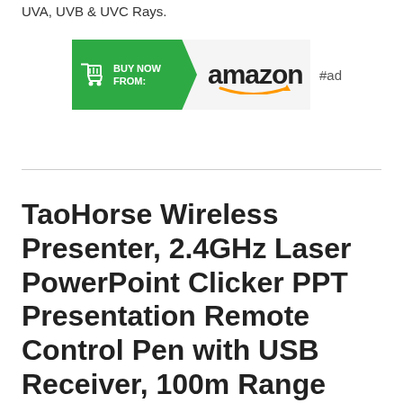UVA, UVB & UVC Rays.
[Figure (other): Amazon 'Buy Now From' advertisement banner with green arrow shape containing shopping cart icon and 'BUY NOW FROM:' text, followed by Amazon logo with smile, and '#ad' label]
TaoHorse Wireless Presenter, 2.4GHz Laser PowerPoint Clicker PPT Presentation Remote Control Pen with USB Receiver, 100m Range